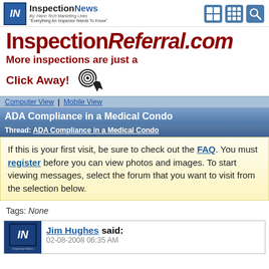InspectionNews - Everything An Inspector Needs To Know
[Figure (logo): InspectionNews logo with IN box and tagline, plus three navigation icons]
[Figure (illustration): InspectionReferral.com banner with dark red text and click icon. Text: InspectionReferral.com / More inspections are just a / Click Away!]
Computer View | Mobile View
ADA Compliance in a Medical Condo
Thread: ADA Compliance in a Medical Condo
If this is your first visit, be sure to check out the FAQ. You must register before you can view photos and images. To start viewing messages, select the forum that you want to visit from the selection below.
Tags: None
Jim Hughes said:
02-08-2008 06:35 AM